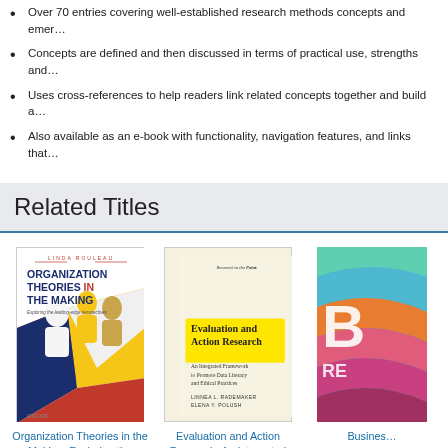Over 70 entries covering well-established research methods concepts and emer…
Concepts are defined and then discussed in terms of practical use, strengths and…
Uses cross-references to help readers link related concepts together and build a…
Also available as an e-book with functionality, navigation features, and links that…
Related Titles
[Figure (photo): Book cover: Organization Theories in the Making by Linda Rouleau]
Organization Theories in the Making: Exploring the leading-edge perspectives
[Figure (photo): Book cover: Evaluation and Action Research: An Integrated Framework to Promote Data Literacy and Ethical Practices by Linnea L. Rademaker, Elena Y. Polush]
Evaluation and Action Research: An Integrated Framework to Promote Data…
[Figure (photo): Partial book cover, colorful abstract design, title starting with B]
Busines…